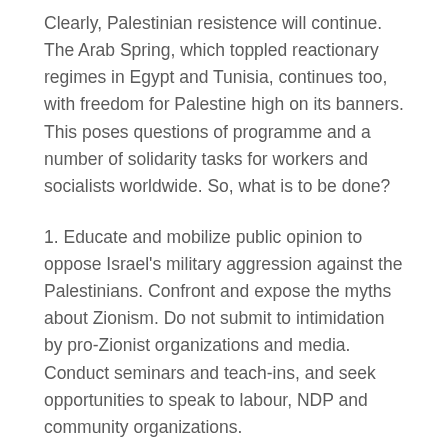Clearly, Palestinian resistence will continue. The Arab Spring, which toppled reactionary regimes in Egypt and Tunisia, continues too, with freedom for Palestine high on its banners. This poses questions of programme and a number of solidarity tasks for workers and socialists worldwide. So, what is to be done?
1. Educate and mobilize public opinion to oppose Israel's military aggression against the Palestinians. Confront and expose the myths about Zionism. Do not submit to intimidation by pro-Zionist organizations and media. Conduct seminars and teach-ins, and seek opportunities to speak to labour, NDP and community organizations.